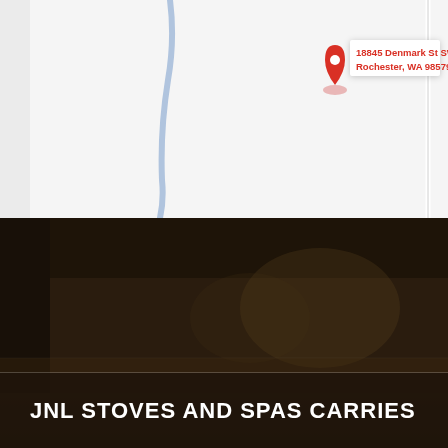[Figure (map): Google Maps screenshot showing location pin at 18845 Denmark St SW, Rochester, WA 98579. A road curves through the map. Denmark St SW label shown vertically on the right side.]
[Figure (photo): Dark interior photo showing a dim room with wooden flooring, dark walls and ceiling. Very low light conditions.]
JNL STOVES AND SPAS CARRIES